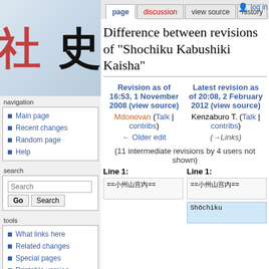[Figure (illustration): Wikipedia sidebar logo with large Japanese kanji characters 社史 in black and red on a light blue-grey gradient background]
navigation
Main page
Recent changes
Random page
Help
search
tools
What links here
Related changes
Special pages
Printable version
Permanent link
page | discussion | view source | history | log in
Difference between revisions of "Shochiku Kabushiki Kaisha"
| Revision as of 16:53, 1 November 2008 (view source) | Latest revision as of 20:08, 2 February 2012 (view source) |
| --- | --- |
| Mdonovan (Talk | contribs) | Kenzaburo T. (Talk | contribs) |
| ← Older edit | (→Links) |
(11 intermediate revisions by 4 users not shown)
Line 1:
Line 1: